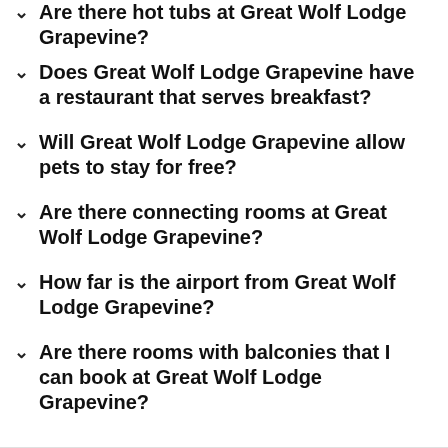Are there hot tubs at Great Wolf Lodge Grapevine?
Does Great Wolf Lodge Grapevine have a restaurant that serves breakfast?
Will Great Wolf Lodge Grapevine allow pets to stay for free?
Are there connecting rooms at Great Wolf Lodge Grapevine?
How far is the airport from Great Wolf Lodge Grapevine?
Are there rooms with balconies that I can book at Great Wolf Lodge Grapevine?
Top Trending
Hotels